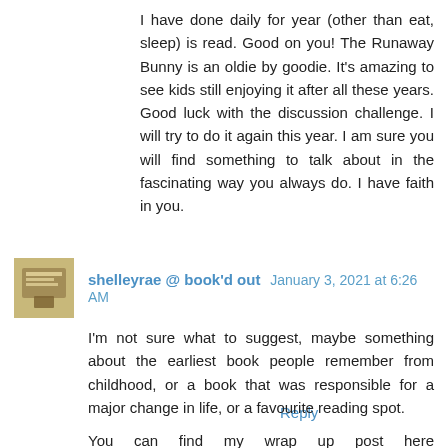I have done daily for year (other than eat, sleep) is read. Good on you! The Runaway Bunny is an oldie by goodie. It's amazing to see kids still enjoying it after all these years. Good luck with the discussion challenge. I will try to do it again this year. I am sure you will find something to talk about in the fascinating way you always do. I have faith in you.
Reply
shelleyrae @ book'd out  January 3, 2021 at 6:26 AM
I'm not sure what to suggest, maybe something about the earliest book people remember from childhood, or a book that was responsible for a major change in life, or a favourite reading spot.
You can find my wrap up post here https://bookdout.wordpress.com/2020/12/31/the-end-of-the-year-2020-wrap-up-post/
Wishing you a great reading week, and good luck with your